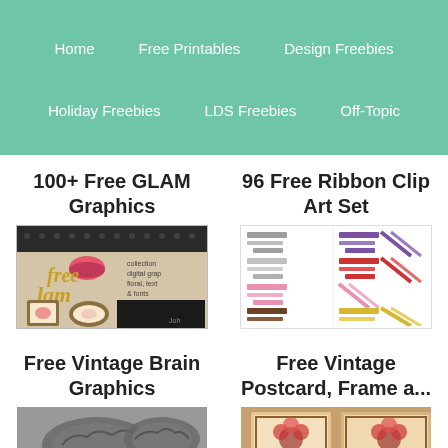Home | Free Printables | Design Freebies | Holiday Freebies | LDS Freebies | Off-Topic
100+ Free GLAM Graphics
[Figure (photo): Thumbnail image for 100+ Free GLAM Graphics post showing decorative frames and text]
96 Free Ribbon Clip Art Set
[Figure (illustration): Grid of colorful ribbon clip art in various colors including gray, purple, red/striped, pink, brown, yellow]
Free Vintage Brain Graphics
[Figure (photo): Thumbnail image for Free Vintage Brain Graphics post, partially visible]
Free Vintage Postcard, Frame a...
[Figure (photo): Thumbnail image for Free Vintage Postcard Frame post showing vintage card with floral decoration]